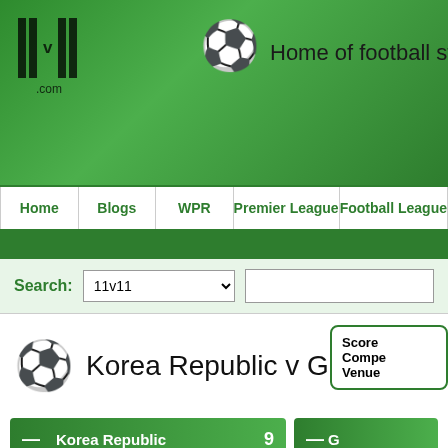Home of football statistics an...
Home | Blogs | WPR | Premier League | Football League
Search: 11v11
Korea Republic v Guam, 05 August
| Score | Competition | Venue |
| --- | --- | --- |
Korea Republic 9
Goals: